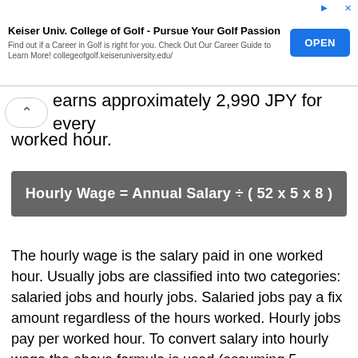[Figure (other): Advertisement banner: Keiser Univ. College of Golf - Pursue Your Golf Passion. Find out if a Career in Golf is right for you. Check Out Our Career Guide to Learn More! collegeofgolf.keiseruniversity.edu/ with an OPEN button.]
earns approximately 2,990 JPY for every worked hour.
The hourly wage is the salary paid in one worked hour. Usually jobs are classified into two categories: salaried jobs and hourly jobs. Salaried jobs pay a fix amount regardless of the hours worked. Hourly jobs pay per worked hour. To convert salary into hourly wage the above formula is used (assuming 5 working days in a week and 8 working hours per day which is the